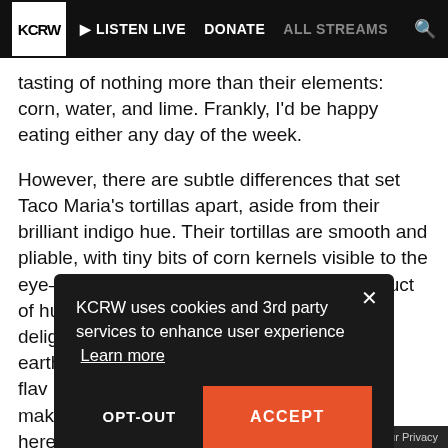KCRW | LISTEN LIVE | DONATE | ALL STREAMS
tasting of nothing more than their elements: corn, water, and lime. Frankly, I'd be happy eating either any day of the week.
However, there are subtle differences that set Taco Maria's tortillas apart, aside from their brilliant indigo hue. Their tortillas are smooth and pliable, with tiny bits of corn kernels visible to the eye—a texture that is unmistakably the product of human hands. Furthermore, they're delightfully toothsome and taste truly of the earth, conveying the sense that you're par[tially obscured] flav[or obscured] mak[e obscured] here[obscured]
WIN[obscured]
KCRW uses cookies and 3rd party services to enhance user experience  Learn more
OPT-OUT
ACCEPT
Your Privacy